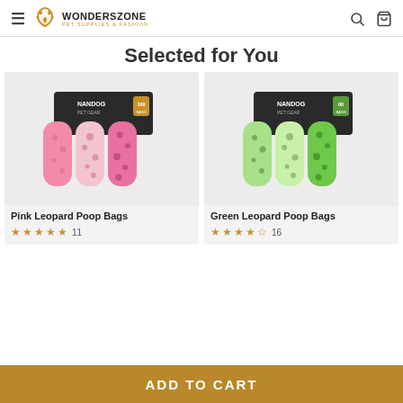WondersZone - Pet Supplies & Fashion
Selected for You
[Figure (photo): Pink Leopard Poop Bags product packaging (Nandog Pet Gear, 160 bags), multiple pink and leopard-print rolls in a blister pack]
Pink Leopard Poop Bags
★★★★★ 11
[Figure (photo): Green Leopard Poop Bags product packaging (Nandog Pet Gear, 60 bags), multiple green and leopard-print rolls in a blister pack]
Green Leopard Poop Bags
★★★★☆ 16
ADD TO CART